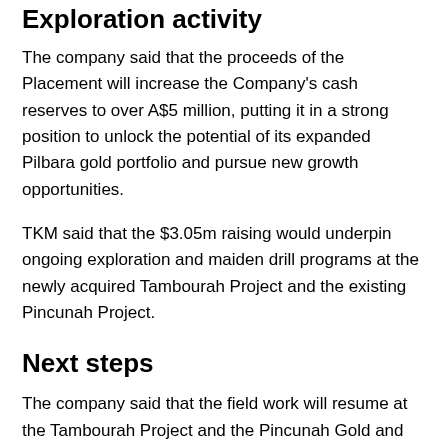Exploration activity
The company said that the proceeds of the Placement will increase the Company's cash reserves to over A$5 million, putting it in a strong position to unlock the potential of its expanded Pilbara gold portfolio and pursue new growth opportunities.
TKM said that the $3.05m raising would underpin ongoing exploration and maiden drill programs at the newly acquired Tambourah Project and the existing Pincunah Project.
Next steps
The company said that the field work will resume at the Tambourah Project and the Pincunah Gold and Copper Project in the Pilbara.